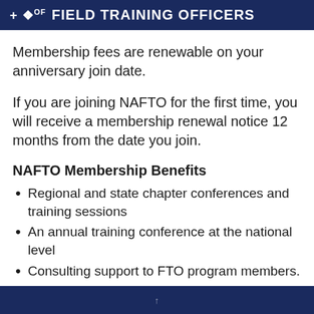FIELD TRAINING OFFICERS
Membership fees are renewable on your anniversary join date.
If you are joining NAFTO for the first time, you will receive a membership renewal notice 12 months from the date you join.
NAFTO Membership Benefits
Regional and state chapter conferences and training sessions
An annual training conference at the national level
Consulting support to FTO program members.